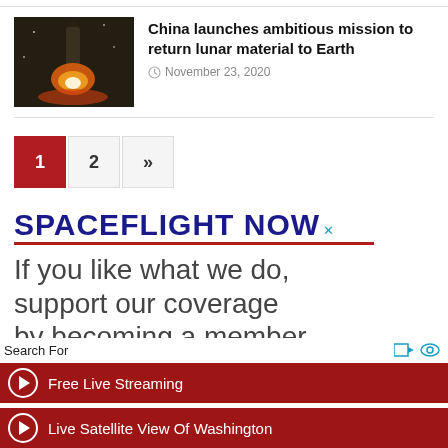[Figure (photo): Rocket launch at night with fiery exhaust visible against dark sky]
China launches ambitious mission to return lunar material to Earth
November 23, 2020
[Figure (infographic): Pagination controls showing page 1 (active, red), page 2, and next page arrows]
[Figure (logo): Spaceflight Now logo with red underline and X close button, followed by tagline: If you like what we do, support our coverage by becoming a member]
Search For
Free Live Streaming
Live Satellite View Of Washington